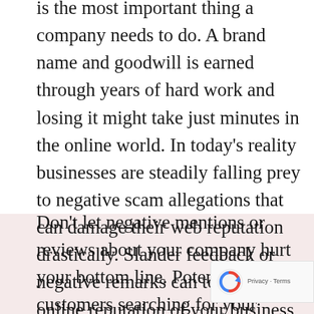is the most important thing a company needs to do. A brand name and goodwill is earned through years of hard work and losing it might take just minutes in the online world. In today's reality businesses are steadily falling prey to negative scam allegations that can damage their web reputation drastically. Slander feedback or negative remarks can topple the online reputation of your business which will lead to negative impact to your online credibility and result in significant loss of sales, maybe even of the business itself.
Don't let negative mentions or reviews about your company hurt your bottom line. Potential customers searching for your company will these negative entries and often will choose buy their products or services from another